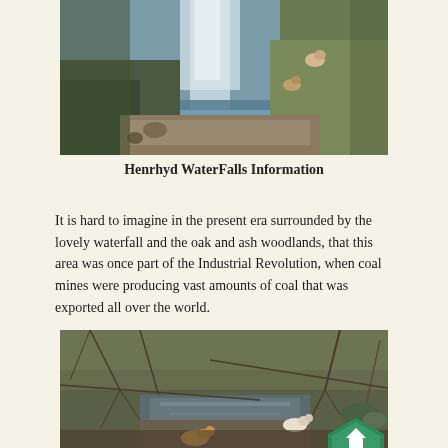[Figure (photo): Photo of a waterfall with dogs on a path beside it, surrounded by grassy hillside and rocks]
Henrhyd WaterFalls Information
It is hard to imagine in the present era surrounded by the lovely waterfall and the oak and ash woodlands, that this area was once part of the Industrial Revolution, when coal mines were producing vast amounts of coal that was exported all over the world.
[Figure (photo): Photo of a woodland stream with two dogs playing near the water, surrounded by bare winter trees and mossy rocks. A green 'TOP' badge is overlaid in the bottom-right corner.]